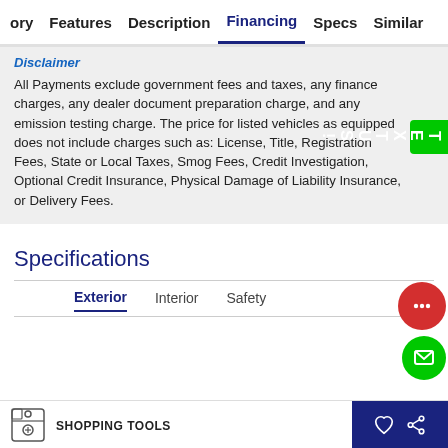ory   Features   Description   Financing   Specs   Similar
Disclaimer
All Payments exclude government fees and taxes, any finance charges, any dealer document preparation charge, and any emission testing charge. The price for listed vehicles as equipped does not include charges such as: License, Title, Registration Fees, State or Local Taxes, Smog Fees, Credit Investigation, Optional Credit Insurance, Physical Damage of Liability Insurance, or Delivery Fees.
Specifications
Exterior   Interior   Safety
SHOPPING TOOLS